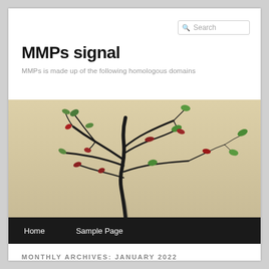Search
MMPs signal
MMPs is made up of the following homologous domains
[Figure (photo): A bonsai-style tree with dark branches and small red and green leaves against a beige/cream background]
Home   Sample Page
MONTHLY ARCHIVES: JANUARY 2022